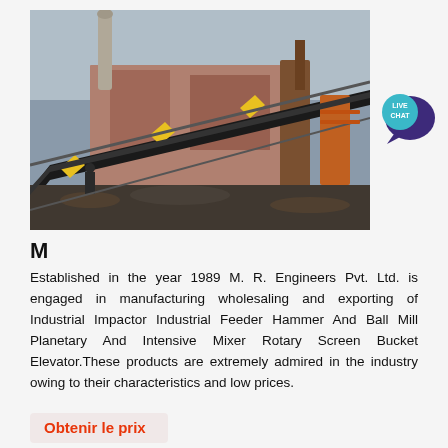[Figure (photo): Industrial conveyor belt and screening equipment at a mining or construction site, with metal framework, pipes, and a worker standing in front on rocky ground.]
M
Established in the year 1989 M. R. Engineers Pvt. Ltd. is engaged in manufacturing wholesaling and exporting of Industrial Impactor Industrial Feeder Hammer And Ball Mill Planetary And Intensive Mixer Rotary Screen Bucket Elevator.These products are extremely admired in the industry owing to their characteristics and low prices.
Obtenir le prix